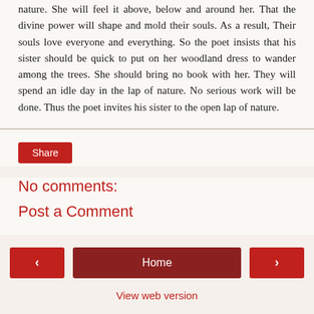nature. She will feel it above, below and around her. That the divine power will shape and mold their souls. As a result, Their souls love everyone and everything. So the poet insists that his sister should be quick to put on her woodland dress to wander among the trees. She should bring no book with her. They will spend an idle day in the lap of nature. No serious work will be done. Thus the poet invites his sister to the open lap of nature.
Share
No comments:
Post a Comment
< | Home | >
View web version